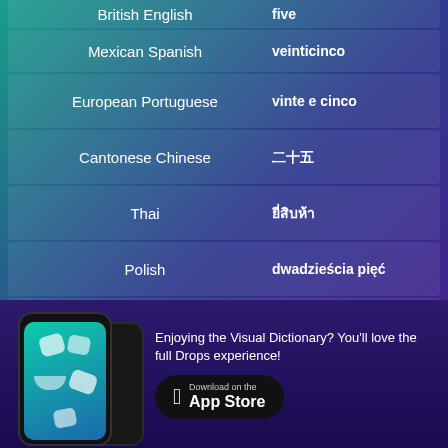| Language | Translation |
| --- | --- |
| British English | five |
| Mexican Spanish | veinticinco |
| European Portuguese | vinte e cinco |
| Cantonese Chinese | 二十五 |
| Thai | ยี่สิบห้า |
| Polish | dwadzieścia pięć |
| Hawaiian | NOTAVAILABLE |
| Māori | NOTAVAILABLE |
[Figure (screenshot): Mobile phone showing Drops app interface with language learning game]
Enjoying the Visual Dictionary? You'll love the full Drops experience!
Download on the App Store